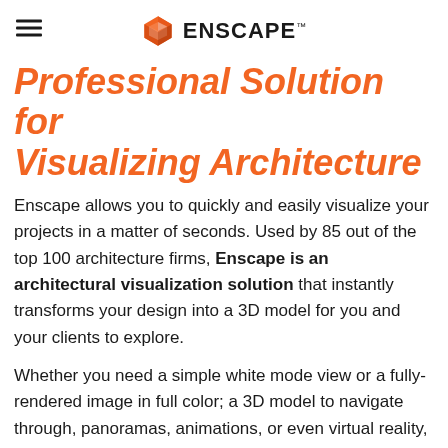ENSCAPE™
Professional Solution for Visualizing Architecture
Enscape allows you to quickly and easily visualize your projects in a matter of seconds. Used by 85 out of the top 100 architecture firms, Enscape is an architectural visualization solution that instantly transforms your design into a 3D model for you and your clients to explore.
Whether you need a simple white mode view or a fully-rendered image in full color; a 3D model to navigate through, panoramas, animations, or even virtual reality, it's all accessible from within your CAD tool and Enscape.